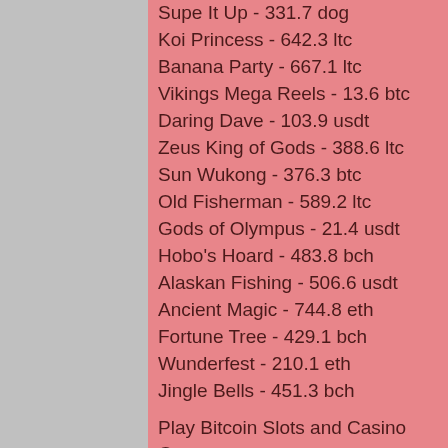Supe It Up - 331.7 dog
Koi Princess - 642.3 ltc
Banana Party - 667.1 ltc
Vikings Mega Reels - 13.6 btc
Daring Dave - 103.9 usdt
Zeus King of Gods - 388.6 ltc
Sun Wukong - 376.3 btc
Old Fisherman - 589.2 ltc
Gods of Olympus - 21.4 usdt
Hobo's Hoard - 483.8 bch
Alaskan Fishing - 506.6 usdt
Ancient Magic - 744.8 eth
Fortune Tree - 429.1 bch
Wunderfest - 210.1 eth
Jingle Bells - 451.3 bch
Play Bitcoin Slots and Casino Games Online:
Vegas Crest Casino Horror Castle
Bitcasino.io Excalibur
Mars Casino Mu...